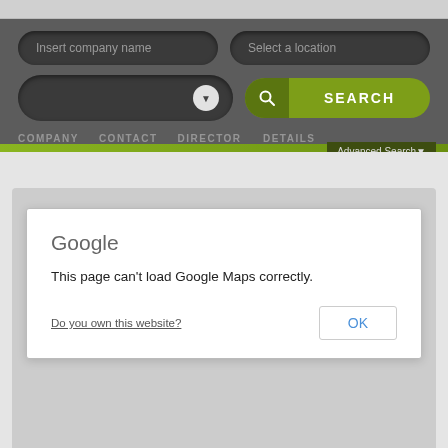[Figure (screenshot): Web browser screenshot showing a company search interface with dark gray background, two input fields ('Insert company name' and 'Select a location'), a dropdown field with arrow, and a green 'SEARCH' button with magnifying glass icon. Below is a navigation bar with tabs. A green accent bar spans the width with 'Advanced Search' link on right. Below that is a map area with a Google Maps error dialog saying 'This page can’t load Google Maps correctly.' with a 'Do you own this website?' link and an 'OK' button. Map watermark at bottom reads 'ent purposes only' and 'For development purposes on'.]